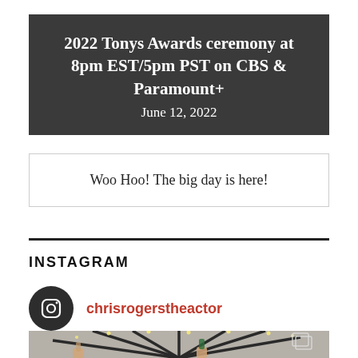2022 Tonys Awards ceremony at 8pm EST/5pm PST on CBS & Paramount+
June 12, 2022
Woo Hoo! The big day is here!
INSTAGRAM
chrisrogerstheactor
[Figure (photo): Hands holding bottles under a large patio umbrella with string lights, viewed from below]